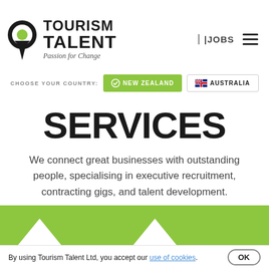[Figure (logo): Tourism Talent logo: black map pin icon with green circle, text TOURISM TALENT bold, tagline Passion for Change italic]
[Figure (infographic): Navigation: JOBS text and hamburger menu icon]
CHOOSE YOUR COUNTRY:   NEW ZEALAND   AUSTRALIA
SERVICES
We connect great businesses with outstanding people, specialising in executive recruitment, contracting gigs, and talent development.
[Figure (infographic): Green banner with white upward arrow shapes at the bottom of the page]
By using Tourism Talent Ltd, you accept our use of cookies.